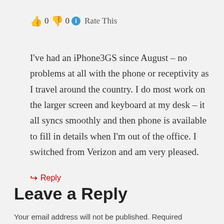👍 0 👎 0 ℹ Rate This
I've had an iPhone3GS since August – no problems at all with the phone or receptivity as I travel around the country. I do most work on the larger screen and keyboard at my desk – it all syncs smoothly and then phone is available to fill in details when I'm out of the office. I switched from Verizon and am very pleased.
↪ Reply
Leave a Reply
Your email address will not be published. Required